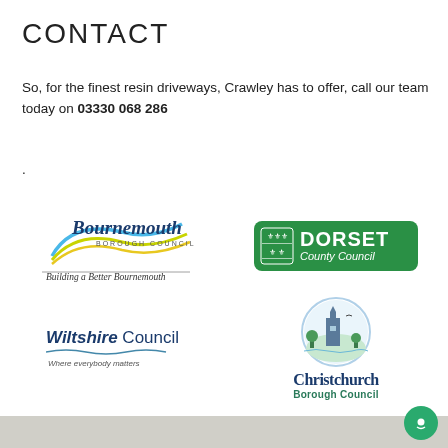CONTACT
So, for the finest resin driveways, Crawley has to offer, call our team today on 03330 068 286
.
[Figure (logo): Bournemouth Borough Council logo with swoosh and tagline 'Building a Better Bournemouth']
[Figure (logo): Dorset County Council logo, green rounded rectangle with shield and white text]
[Figure (logo): Wiltshire Council logo with tagline 'Where everybody matters']
[Figure (logo): Christchurch Borough Council logo with circular illustration of church and sea]